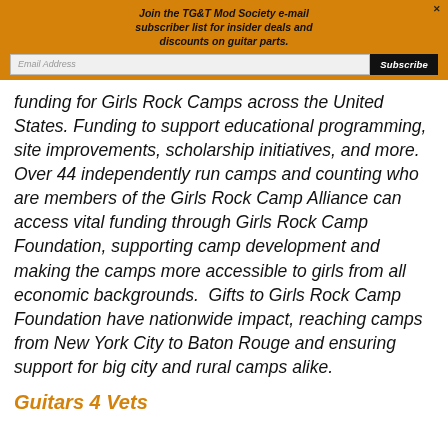Join the TG&T Mod Society e-mail subscriber list for insider deals and discounts on guitar parts.
funding for Girls Rock Camps across the United States. Funding to support educational programming, site improvements, scholarship initiatives, and more. Over 44 independently run camps and counting who are members of the Girls Rock Camp Alliance can access vital funding through Girls Rock Camp Foundation, supporting camp development and making the camps more accessible to girls from all economic backgrounds.  Gifts to Girls Rock Camp Foundation have nationwide impact, reaching camps from New York City to Baton Rouge and ensuring support for big city and rural camps alike.
Guitars 4 Vets